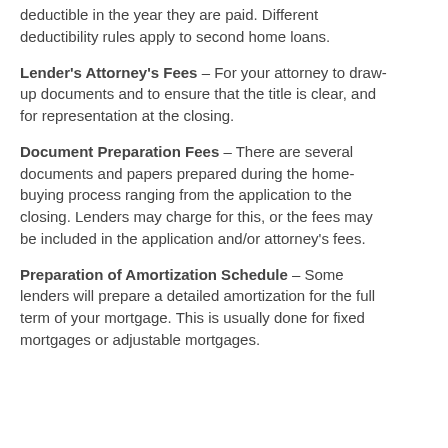deductible in the year they are paid. Different deductibility rules apply to second home loans.
Lender's Attorney's Fees – For your attorney to draw-up documents and to ensure that the title is clear, and for representation at the closing.
Document Preparation Fees – There are several documents and papers prepared during the home-buying process ranging from the application to the closing. Lenders may charge for this, or the fees may be included in the application and/or attorney's fees.
Preparation of Amortization Schedule – Some lenders will prepare a detailed amortization for the full term of your mortgage. This is usually done for fixed mortgages or adjustable mortgages.